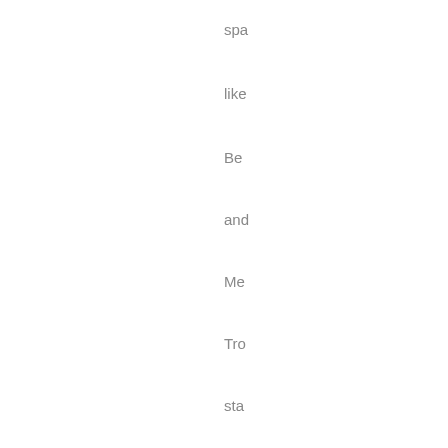spa
like
Be
and
Me
Tro
sta
chi
out
slig
sm
bo:
for
the
soc
inc
cal